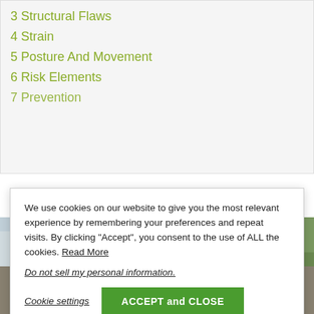3 Structural Flaws
4 Strain
5 Posture And Movement
6 Risk Elements
7 Prevention
We use cookies on our website to give you the most relevant experience by remembering your preferences and repeat visits. By clicking “Accept”, you consent to the use of ALL the cookies. Read More
Do not sell my personal information.
Cookie settings
ACCEPT and CLOSE
[Figure (photo): Woman runner seen from behind wearing a black racerback sports bra with hands on hips, outdoors with blurred background of concrete structures and green trees]